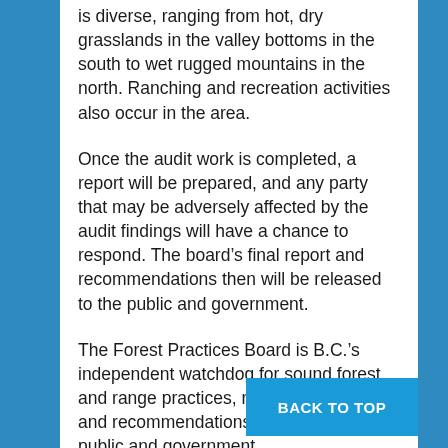is diverse, ranging from hot, dry grasslands in the valley bottoms in the south to wet rugged mountains in the north. Ranching and recreation activities also occur in the area.
Once the audit work is completed, a report will be prepared, and any party that may be adversely affected by the audit findings will have a chance to respond. The board’s final report and recommendations then will be released to the public and government.
The Forest Practices Board is B.C.’s independent watchdog for sound forest and range practices, reporting its findings and recommendations directly to the public and government.
The board audits forest and range practices on public land, as well as appropriate...